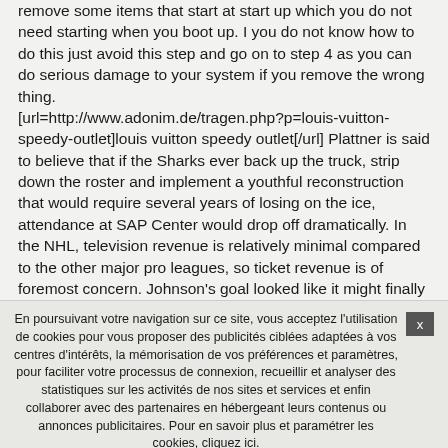remove some items that start at start up which you do not need starting when you boot up. I you do not know how to do this just avoid this step and go on to step 4 as you can do serious damage to your system if you remove the wrong thing.
[url=http://www.adonim.de/tragen.php?p=louis-vuitton-speedy-outlet]louis vuitton speedy outlet[/url] Plattner is said to believe that if the Sharks ever back up the truck, strip down the roster and implement a youthful reconstruction that would require several years of losing on the ice, attendance at SAP Center would drop off dramatically. In the NHL, television revenue is relatively minimal compared to the other major pro leagues, so ticket revenue is of foremost concern. Johnson's goal looked like it might finally be the one to hold up, as the building erupted with joy and the Avs played solid defense for the next few minutes. But unlike most of the regular season, Varlamov couldn't come up with the big saves when his team needed them most.
[url=http://www.442ndrct.com/support.php?p=michael-kors-wristlet]michael kors wristlet[/url] Cependant, M
En poursuivant votre navigation sur ce site, vous acceptez l'utilisation de cookies pour vous proposer des publicités ciblées adaptées à vos centres d'intérêts, la mémorisation de vos préférences et paramètres, pour faciliter votre processus de connexion, recueillir et analyser des statistiques sur les activités de nos sites et services et enfin collaborer avec des partenaires en hébergeant leurs contenus ou annonces publicitaires. Pour en savoir plus et paramétrer les cookies, cliquez ici.